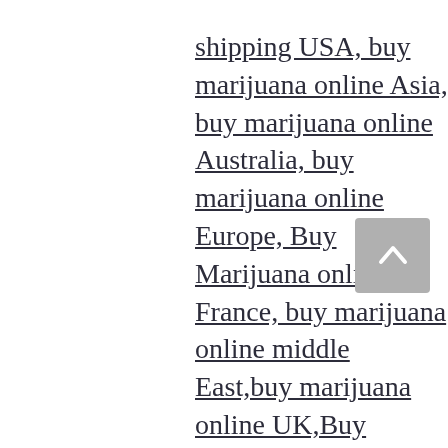shipping USA, buy marijuana online Asia, buy marijuana online Australia, buy marijuana online Europe, Buy Marijuana online France, buy marijuana online middle East,buy marijuana online UK,Buy Marijuana online USA, buy marijuana online with discreet packaging, Buy Marijuana online with worldwide shipping, Buy Marijuana online worldwide shipping, buy real marijuana online USA, Cheap online dispensary shipping USA, Buy weed online, buy weed online Australia, Buy weed online Brazil, Buy weed online Germany, buy weed online Latin American, buy weed online malaysia, Buy weed online safely, buy weed online UK , buy weed online USA, buy weed online with worldwide shipping, buying cannabis